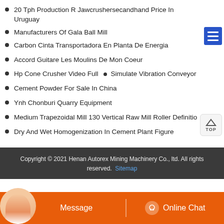20 Tph Production R Jawcrushersecandhand Price In Uruguay
Manufacturers Of Gala Ball Mill
Carbon Cinta Transportadora En Planta De Energia
Accord Guitare Les Moulins De Mon Coeur
Hp Cone Crusher Video Full  •  Simulate Vibration Conveyor
Cement Powder For Sale In China
Ynh Chonburi Quarry Equipment
Medium Trapezoidal Mill 130 Vertical Raw Mill Roller Definitio
Dry And Wet Homogenization In Cement Plant Figure
Copyright © 2021 Henan Autorex Mining Machinery Co., ltd. All rights reserved. Sitemap
Message  Online Chat